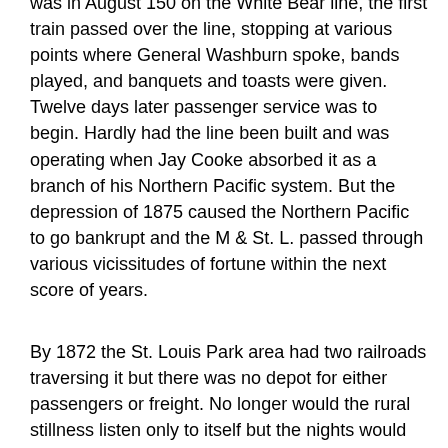was in August 150 on the White Bear line, the first train passed over the line, stopping at various points where General Washburn spoke, bands played, and banquets and toasts were given. Twelve days later passenger service was to begin. Hardly had the line been built and was operating when Jay Cooke absorbed it as a branch of his Northern Pacific system. But the depression of 1875 caused the Northern Pacific to go bankrupt and the M & St. L. passed through various vicissitudes of fortune within the next score of years.
By 1872 the St. Louis Park area had two railroads traversing it but there was no depot for either passengers or freight. No longer would the rural stillness listen only to itself but the nights would be filled with the whistle of the steam locomotive and the rumble of wheat trains pulling for Minneapolis. The immediate consequences of the building of the roads was not great but the roads were to play a more important role in later years when the village was established and became an industrial center.
Other changes which took place in the area were of relatively